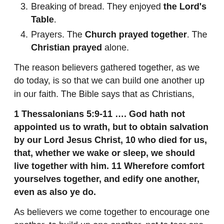3. Breaking of bread. They enjoyed the Lord's Table.
4. Prayers. The Church prayed together. The Christian prayed alone.
The reason believers gathered together, as we do today, is so that we can build one another up in our faith. The Bible says that as Christians,
1 Thessalonians 5:9-11 …. God hath not appointed us to wrath, but to obtain salvation by our Lord Jesus Christ, 10 who died for us, that, whether we wake or sleep, we should live together with him. 11 Wherefore comfort yourselves together, and edify one another, even as also ye do.
As believers we come together to encourage one another, to build up one another, not to tear one another down. We